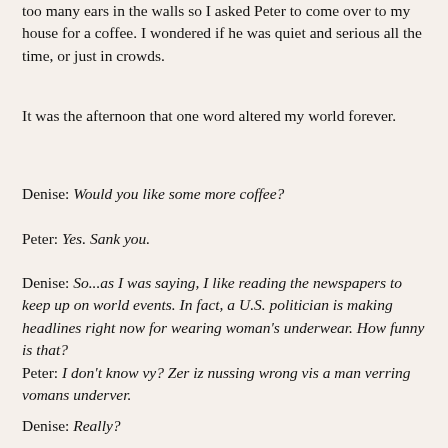too many ears in the walls so I asked Peter to come over to my house for a coffee. I wondered if he was quiet and serious all the time, or just in crowds.
It was the afternoon that one word altered my world forever.
Denise: Would you like some more coffee?
Peter: Yes. Sank you.
Denise: So...as I was saying, I like reading the newspapers to keep up on world events. In fact, a U.S. politician is making headlines right now for wearing woman's underwear. How funny is that?
Peter: I don't know vy? Zer iz nussing wrong vis a man verring vomans underver.
Denise: Really?
Peter: Of course!
Denise: (and here the text is cut off)